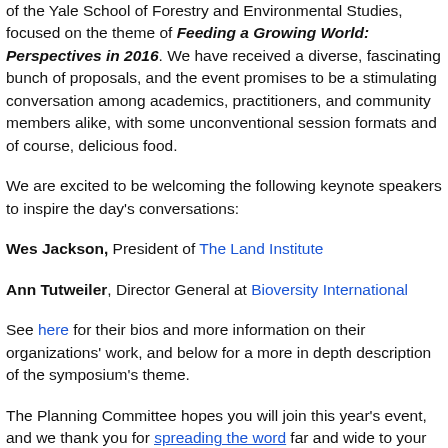of the Yale School of Forestry and Environmental Studies, focused on the theme of Feeding a Growing World: Perspectives in 2016. We have received a diverse, fascinating bunch of proposals, and the event promises to be a stimulating conversation among academics, practitioners, and community members alike, with some unconventional session formats and of course, delicious food.
We are excited to be welcoming the following keynote speakers to inspire the day's conversations:
Wes Jackson, President of The Land Institute
Ann Tutweiler, Director General at Bioversity International
See here for their bios and more information on their organizations' work, and below for a more in depth description of the symposium's theme.
The Planning Committee hopes you will join this year's event, and we thank you for spreading the word far and wide to your networks! Ticketsales are limited so please consider purchasing yours soon.